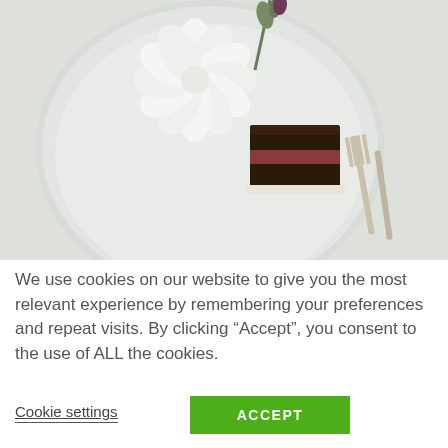[Figure (photo): A white ceramic plate on a white tablecloth with a white dahlia flower and small purple bud, and a slice of chocolate layer cake with a fork on the right side of the plate.]
We use cookies on our website to give you the most relevant experience by remembering your preferences and repeat visits. By clicking “Accept”, you consent to the use of ALL the cookies.
Cookie settings
ACCEPT